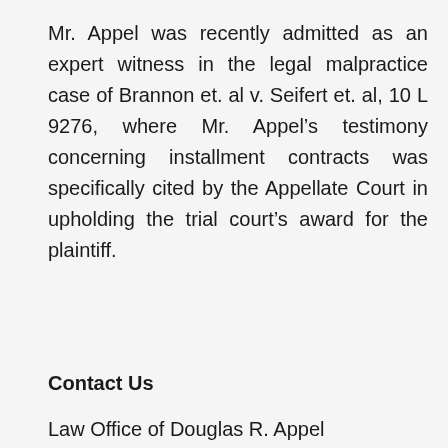Mr. Appel was recently admitted as an expert witness in the legal malpractice case of Brannon et. al v. Seifert et. al, 10 L 9276, where Mr. Appel's testimony concerning installment contracts was specifically cited by the Appellate Court in upholding the trial court's award for the plaintiff.
Contact Us
Law Office of Douglas R. Appel